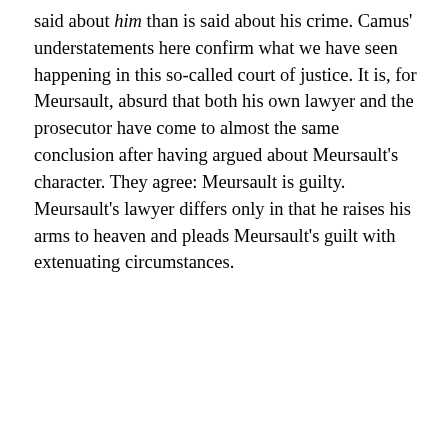said about him than is said about his crime. Camus' understatements here confirm what we have seen happening in this so-called court of justice. It is, for Meursault, absurd that both his own lawyer and the prosecutor have come to almost the same conclusion after having argued about Meursault's character. They agree: Meursault is guilty. Meursault's lawyer differs only in that he raises his arms to heaven and pleads Meursault's guilt with extenuating circumstances.